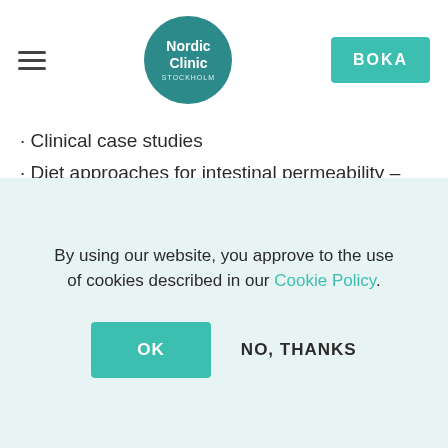Nordic Clinic Stockholm | BOKA
· Clinical case studies
· Diet approaches for intestinal permeability – when, how and where to use them
· Lifestyle interventions to decrease hyperpermeability
· The gut-brain axis and relevance in clinical practice with GI disorders
By using our website, you approve to the use of cookies described in our Cookie Policy.
OK
NO, THANKS